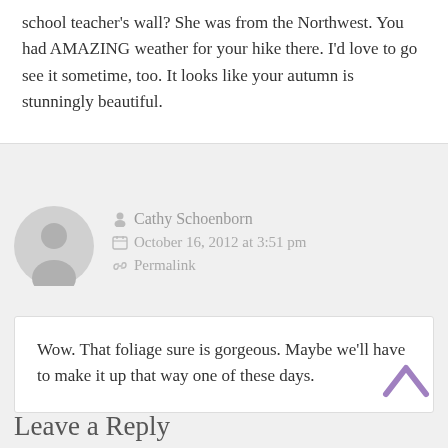school teacher’s wall? She was from the Northwest. You had AMAZING weather for your hike there. I’d love to go see it sometime, too. It looks like your autumn is stunningly beautiful.
Cathy Schoenborn
October 16, 2012 at 3:51 pm
Permalink
Wow. That foliage sure is gorgeous. Maybe we’ll have to make it up that way one of these days.
Leave a Reply